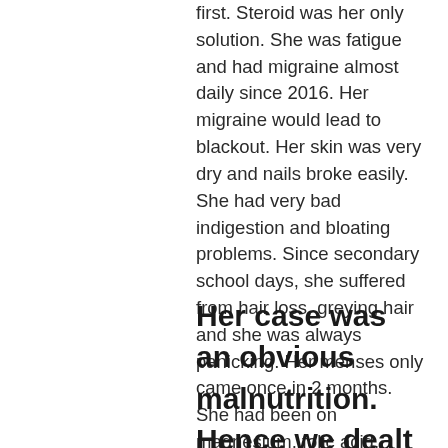first. Steroid was her only solution. She was fatigue and had migraine almost daily since 2016. Her migraine would lead to blackout. Her skin was very dry and nails broke easily. She had very bad indigestion and bloating problems. Since secondary school days, she suffered from hair loss, greying hair and she was always panicking. Her menses only came once in 2 months. She had been on magnesium, folic acid, probiotics and omega oil for some time but to no avail.
Her case was an obvious malnutrition. Hence we dealt with her digestive issues first.